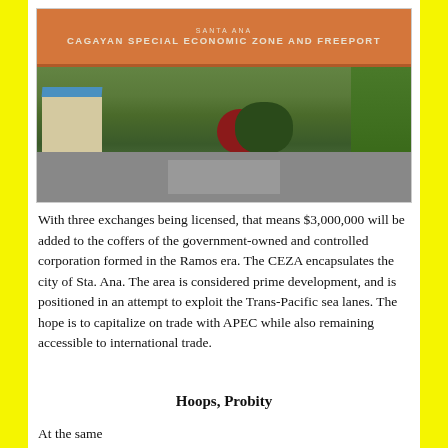[Figure (photo): Entrance gate of Cagayan Special Economic Zone and Freeport in Santa Ana, with orange archway sign, lush green trees, a building on the left, red and green bushes in the foreground, and a road]
With three exchanges being licensed, that means $3,000,000 will be added to the coffers of the government-owned and controlled corporation formed in the Ramos era. The CEZA encapsulates the city of Sta. Ana. The area is considered prime development, and is positioned in an attempt to exploit the Trans-Pacific sea lanes. The hope is to capitalize on trade with APEC while also remaining accessible to international trade.
Hoops, Probity
At the same...